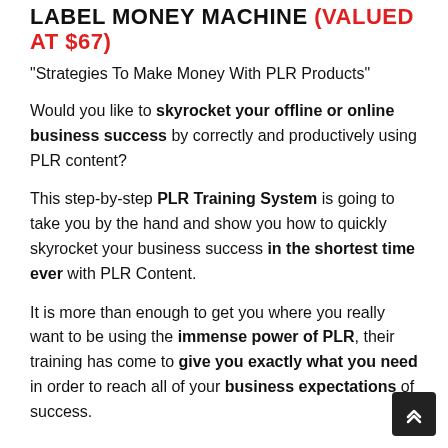LABEL MONEY MACHINE (VALUED AT $67)
“Strategies To Make Money With PLR Products”
Would you like to skyrocket your offline or online business success by correctly and productively using PLR content?
This step-by-step PLR Training System is going to take you by the hand and show you how to quickly skyrocket your business success in the shortest time ever with PLR Content.
It is more than enough to get you where you really want to be using the immense power of PLR, their training has come to give you exactly what you need in order to reach all of your business expectations of success.